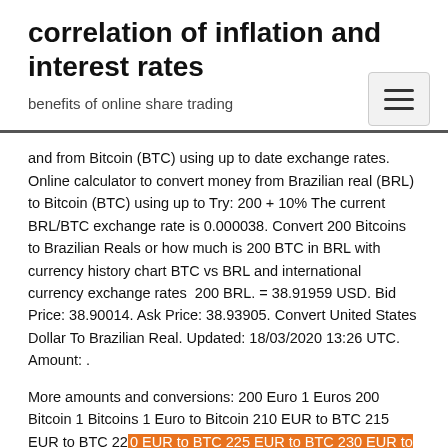correlation of inflation and interest rates
benefits of online share trading
and from Bitcoin (BTC) using up to date exchange rates. Online calculator to convert money from Brazilian real (BRL) to Bitcoin (BTC) using up to Try: 200 + 10% The current BRL/BTC exchange rate is 0.000038. Convert 200 Bitcoins to Brazilian Reals or how much is 200 BTC in BRL with currency history chart BTC vs BRL and international currency exchange rates  200 BRL. = 38.91959 USD. Bid Price: 38.90014. Ask Price: 38.93905. Convert United States Dollar To Brazilian Real. Updated: 18/03/2020 13:26 UTC. Amount: .
More amounts and conversions: 200 Euro 1 Euros 200 Bitcoin 1 Bitcoins 1 Euro to Bitcoin 210 EUR to BTC 215 EUR to BTC 220 EUR to BTC 225 EUR to BTC 230 EUR to BTC 235 EUR to BTC 240 EUR to BTC 245 EUR to BTC 250 EUR to BTC 255 EUR to BTC. Dollars to